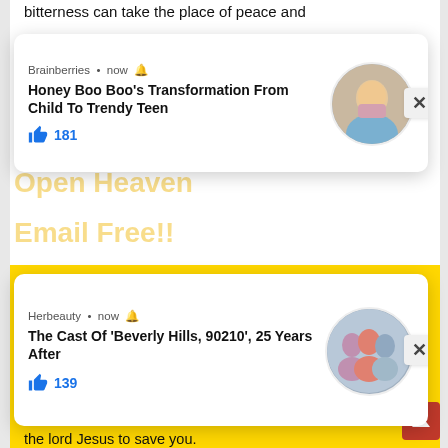bitterness can take the place of peace and
[Figure (screenshot): Brainberries notification card: Honey Boo Boo's Transformation From Child To Trendy Teen, 181 likes, with circular photo of girl]
[Figure (screenshot): Herbeauty notification card: The Cast Of 'Beverly Hills, 90210', 25 Years After, 139 likes, with circular photo of cast]
Email Address
Sign Me Up
safe from the punishment of your sin by personally trusting in the lord Jesus to save you.